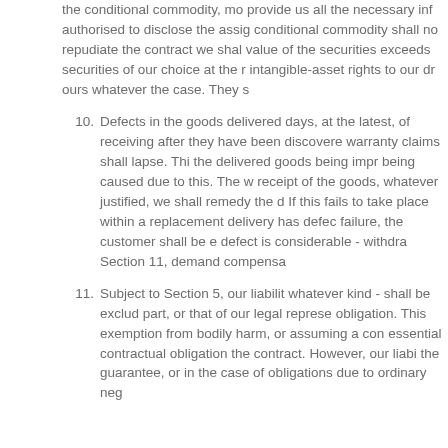the conditional commodity, mo provide us all the necessary inf authorised to disclose the assig conditional commodity shall no repudiate the contract we shal value of the securities exceeds securities of our choice at the r intangible-asset rights to our dr ours whatever the case. They s
10. Defects in the goods delivered days, at the latest, of receiving after they have been discovere warranty claims shall lapse. Thi the delivered goods being impr being caused due to this. The w receipt of the goods, whatever justified, we shall remedy the d If this fails to take place within a replacement delivery has defec failure, the customer shall be e defect is considerable - withdra Section 11, demand compensa
11. Subject to Section 5, our liabilit whatever kind - shall be exclud part, or that of our legal represe obligation. This exemption from bodily harm, or assuming a con essential contractual obligation the contract. However, our liabi the guarantee, or in the case of obligations due to ordinary neg